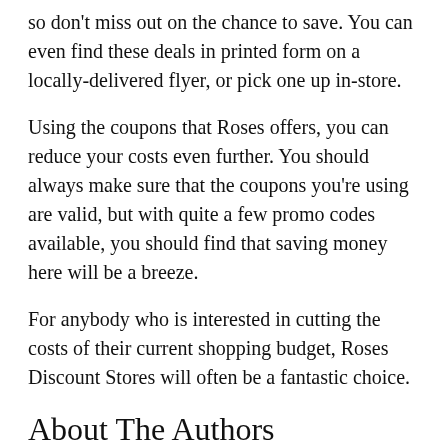so don't miss out on the chance to save. You can even find these deals in printed form on a locally-delivered flyer, or pick one up in-store.
Using the coupons that Roses offers, you can reduce your costs even further. You should always make sure that the coupons you're using are valid, but with quite a few promo codes available, you should find that saving money here will be a breeze.
For anybody who is interested in cutting the costs of their current shopping budget, Roses Discount Stores will often be a fantastic choice.
About The Authors
[Figure (photo): Partial photo of a person, showing top of head with light brown hair, cropped at bottom of frame, with rounded top corners on a grey background.]